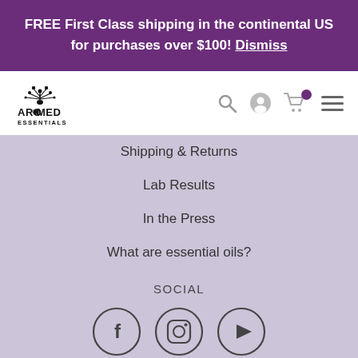FREE First Class shipping in the continental US for purchases over $100! Dismiss
[Figure (logo): AroMed Essentials logo with stylized plant/herb icon above text]
Shipping & Returns
Lab Results
In the Press
What are essential oils?
SOCIAL
[Figure (infographic): Three social media icons in circles: Facebook (f), Instagram (camera), YouTube (play button)]